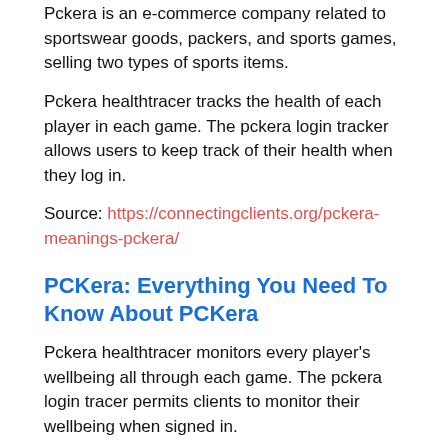Pckera is an e-commerce company related to sportswear goods, packers, and sports games, selling two types of sports items.
Pckera healthtracer tracks the health of each player in each game. The pckera login tracker allows users to keep track of their health when they log in.
Source: https://connectingclients.org/pckera-meanings-pckera/
PCKera: Everything You Need To Know About PCKera
Pckera healthtracer monitors every player's wellbeing all through each game. The pckera login tracer permits clients to monitor their wellbeing when signed in.